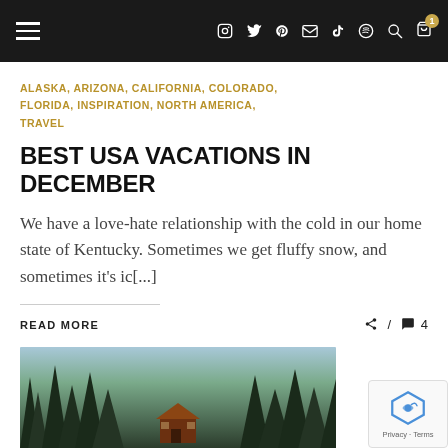Navigation bar with hamburger menu and social icons (Instagram, Twitter, Pinterest, Email, TikTok, Spotify, Search, Cart with badge 1)
ALASKA, ARIZONA, CALIFORNIA, COLORADO, FLORIDA, INSPIRATION, NORTH AMERICA, TRAVEL
BEST USA VACATIONS IN DECEMBER
We have a love-hate relationship with the cold in our home state of Kentucky. Sometimes we get fluffy snow, and sometimes it's ic[...]
READ MORE
4
[Figure (photo): Photo of dark tree silhouettes (forest) against a light sky with a small cabin or house visible in the center-bottom of the image]